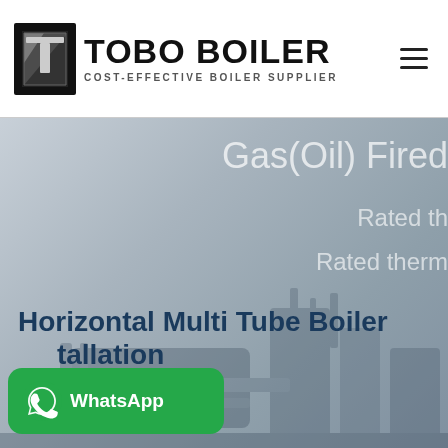TOBO BOILER — COST-EFFECTIVE BOILER SUPPLIER
[Figure (screenshot): Hero banner showing a gas/oil fired horizontal multi-tube boiler installation with overlay text reading 'Gas(Oil) Fired', 'Rated th...', 'Rated therm...', and 'Horizontal Multi Tube Boiler Installation'. Background shows industrial boiler equipment in muted blue-grey tones.]
Horizontal Multi Tube Boiler Installation
[Figure (logo): WhatsApp button — green rounded rectangle with WhatsApp phone icon and text 'WhatsApp']